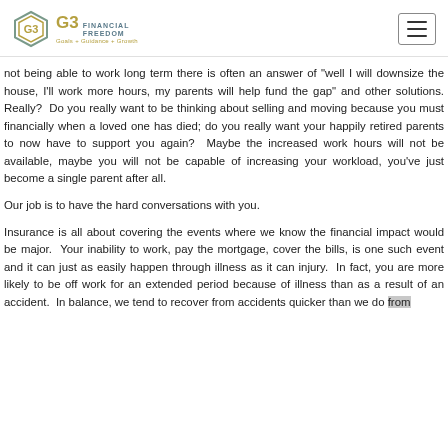G3 Financial Freedom — Goals + Guidance + Growth
not being able to work long term there is often an answer of "well I will downsize the house, I'll work more hours, my parents will help fund the gap" and other solutions. Really? Do you really want to be thinking about selling and moving because you must financially when a loved one has died; do you really want your happily retired parents to now have to support you again? Maybe the increased work hours will not be available, maybe you will not be capable of increasing your workload, you've just become a single parent after all.
Our job is to have the hard conversations with you.
Insurance is all about covering the events where we know the financial impact would be major. Your inability to work, pay the mortgage, cover the bills, is one such event and it can just as easily happen through illness as it can injury. In fact, you are more likely to be off work for an extended period because of illness than as a result of an accident. In balance, we tend to recover from accidents quicker than we do from debilitating illnesses.